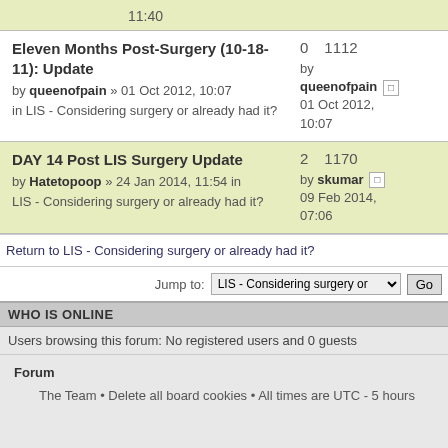11:40 (partial date/time from previous row)
Eleven Months Post-Surgery (10-18-11): Update by queenofpain » 01 Oct 2012, 10:07 in LIS - Considering surgery or already had it? | 0 replies, 1112 views | by queenofpain | 01 Oct 2012, 10:07
DAY 14 Post LIS Surgery Update by Hatetopoop » 24 Jan 2014, 11:54 in LIS - Considering surgery or already had it? | 2 replies, 1170 views | by skumar | 09 Feb 2014, 07:06
Return to LIS - Considering surgery or already had it?
Jump to: LIS - Considering surgery or [dropdown] Go
WHO IS ONLINE
Users browsing this forum: No registered users and 0 guests
Forum
The Team • Delete all board cookies • All times are UTC - 5 hours